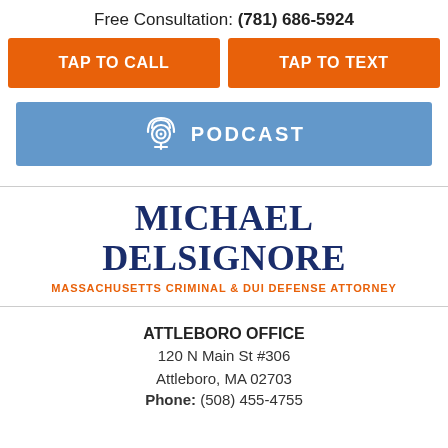Free Consultation: (781) 686-5924
TAP TO CALL
TAP TO TEXT
PODCAST
[Figure (logo): Michael DelSignore Massachusetts Criminal & DUI Defense Attorney logo with name in dark blue serif font and subtitle in orange]
ATTLEBORO OFFICE
120 N Main St #306
Attleboro, MA 02703
Phone: (508) 455-4755